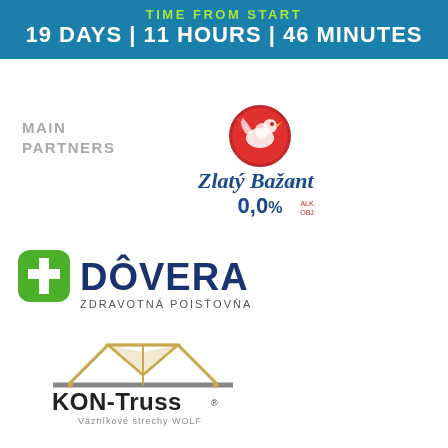TIME FROM START
19 DAYS | 11 HOURS | 46 MINUTES
MAIN
PARTNERS
[Figure (logo): Zlatý Bažant 0,0% beer logo — circular red badge with blue pheasant bird, blue cursive script 'Zlatý Bažant' and '0,0% ALK. OBJ.']
[Figure (logo): Dôvera zdravotná poisťovňa logo — green cross icon and bold dark blue text 'DÔVERA' with subtitle 'ZDRAVOTNÁ POISŤOVŇA']
[Figure (logo): KON-Truss logo — gold/grey roof truss triangle geometric icon above text 'KON-Truss' with trademark symbol and subtitle 'Väzníkové strechy WOLF']